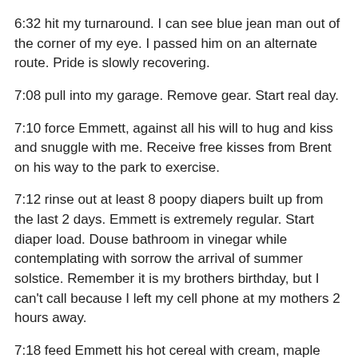6:32 hit my turnaround. I can see blue jean man out of the corner of my eye. I passed him on an alternate route. Pride is slowly recovering.
7:08 pull into my garage. Remove gear. Start real day.
7:10 force Emmett, against all his will to hug and kiss and snuggle with me. Receive free kisses from Brent on his way to the park to exercise.
7:12 rinse out at least 8 poopy diapers built up from the last 2 days. Emmett is extremely regular. Start diaper load. Douse bathroom in vinegar while contemplating with sorrow the arrival of summer solstice. Remember it is my brothers birthday, but I can't call because I left my cell phone at my mothers 2 hours away.
7:18 feed Emmett his hot cereal with cream, maple syrup and golden raisins. A man sized portion for my 21 lb 16 month old.